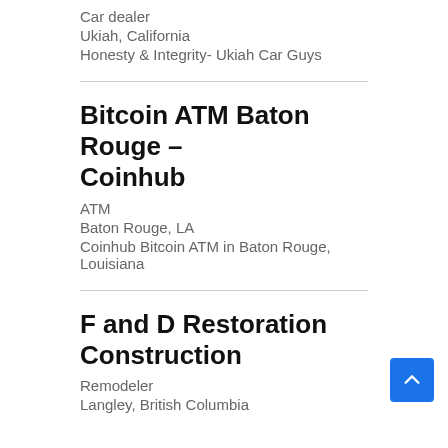Car dealer
Ukiah, California
Honesty & Integrity- Ukiah Car Guys
Bitcoin ATM Baton Rouge – Coinhub
ATM
Baton Rouge, LA
Coinhub Bitcoin ATM in Baton Rouge, Louisiana
F and D Restoration Construction
Remodeler
Langley, British Columbia